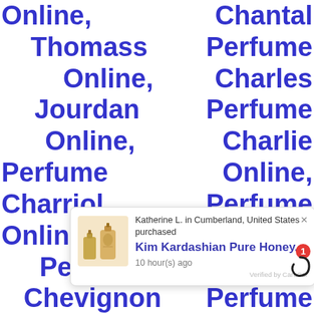Online, Chantal Thomass Perfume Online, Charles Jourdan Perfume Online, Charlie Perfume Online, Charriol Perfume Online, Chaz Dean Perfume Online, Chevignon Perfume Online, Chkoudra Paris Perfume Online, Chloe Perfume Online, Chopard Perfume Online, Christian Audigier Perfume Online, Christian Dior Perfume Online, Christian Lacroix Perfume Online, Christian Louboutin Perfume Online, Christian Siriano Perfume Online, Christina Aguilera Perfume Online, Cindy Crawford Perfumes Perfume Online, Clive Christian Perfume Online,
[Figure (screenshot): Notification popup showing a product purchase: Katherine L. in Cumberland, United States purchased Kim Kardashian Pure Honey... 10 hour(s) ago. Verified by CareCar. Includes product image of perfume bottles.]